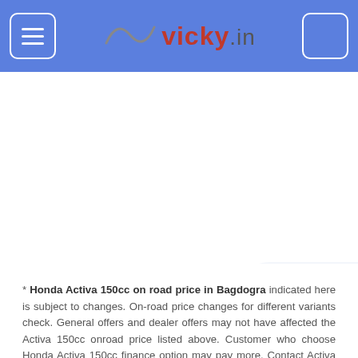vicky.in
* Honda Activa 150cc on road price in Bagdogra indicated here is subject to changes. On-road price changes for different variants check. General offers and dealer offers may not have affected the Activa 150cc onroad price listed above. Customer who choose Honda Activa 150cc finance option may pay more. Contact Activa 150cc dealers in Bagdogra for accurate on-road price.